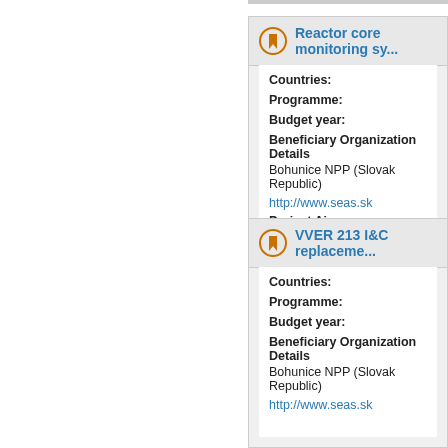Reactor core monitoring sy...
Countries:
Programme:
Budget year:
Beneficiary Organization Details
Bohunice NPP (Slovak Republic)
http://www.seas.sk
Project Aims
VVER 213 I&C replaceme...
Countries:
Programme:
Budget year:
Beneficiary Organization Details
Bohunice NPP (Slovak Republic)
http://www.seas.sk